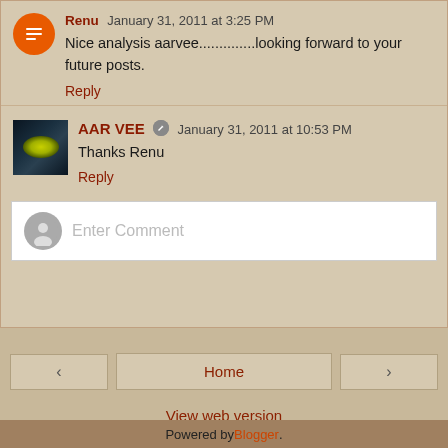Renu January 31, 2011 at 3:25 PM
Nice analysis aarvee..............looking forward to your future posts.
Reply
AAR VEE January 31, 2011 at 10:53 PM
Thanks Renu
Reply
[Figure (other): Enter Comment input box with default user avatar]
Home
View web version
Powered by Blogger.